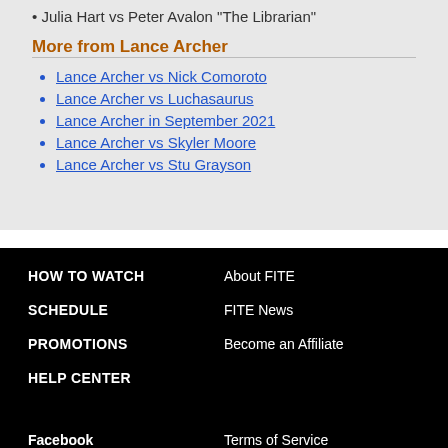Julia Hart vs Peter Avalon "The Librarian"
More from Lance Archer
Lance Archer vs Nick Comoroto
Lance Archer vs Luchasaurus
Lance Archer in September 2021
Lance Archer vs Skyler Moore
Lance Archer vs Stu Grayson
HOW TO WATCH | SCHEDULE | PROMOTIONS | HELP CENTER | About FITE | FITE News | Become an Affiliate | Facebook | Terms of Service